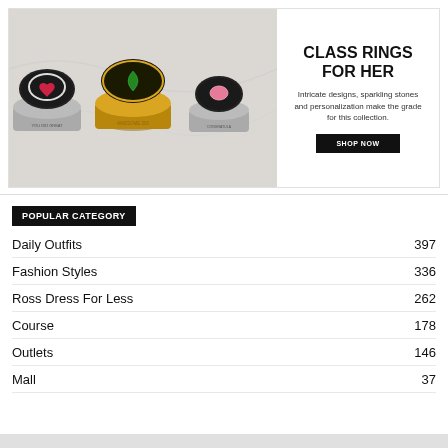[Figure (photo): Three class rings for women displayed on a light marble surface: a silver ring with a red heart stone, a gold ring with a green marquise stone, and a silver ring with a pink oval stone.]
CLASS RINGS FOR HER
Intricate designs, sparkling stones and personalization make the grade for this collection.
SHOP NOW
POPULAR CATEGORY
Daily Outfits 397
Fashion Styles 336
Ross Dress For Less 262
Course 178
Outlets 146
Mall 37